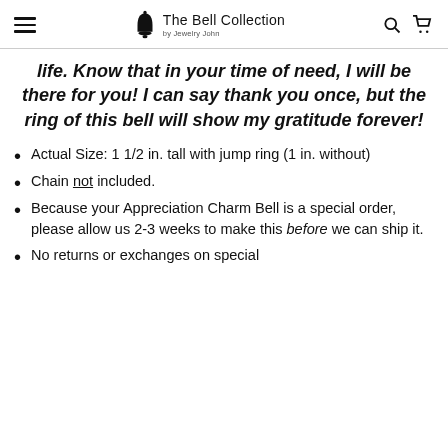The Bell Collection by Jewelry John
life. Know that in your time of need, I will be there for you! I can say thank you once, but the ring of this bell will show my gratitude forever!
Actual Size: 1 1/2 in. tall with jump ring (1 in. without)
Chain not included.
Because your Appreciation Charm Bell is a special order, please allow us 2-3 weeks to make this before we can ship it.
No returns or exchanges on special